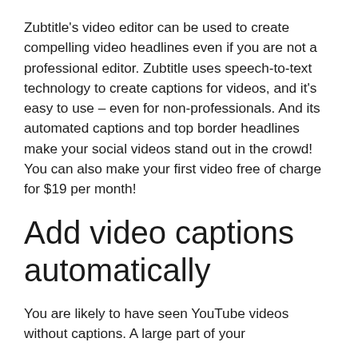Zubtitle's video editor can be used to create compelling video headlines even if you are not a professional editor. Zubtitle uses speech-to-text technology to create captions for videos, and it's easy to use – even for non-professionals. And its automated captions and top border headlines make your social videos stand out in the crowd! You can also make your first video free of charge for $19 per month!
Add video captions automatically
You are likely to have seen YouTube videos without captions. A large part of your